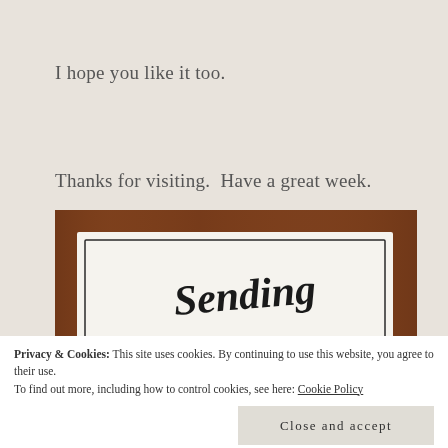I hope you like it too.
Thanks for visiting.  Have a great week.
[Figure (photo): A handmade birthday card with a wooden frame border and inner white card. The card features decorative script text reading 'Sending' at the top and 'BIRTHDAY WISHES' in block letters below. A vintage illustration of a young girl with red/auburn hair leaning over is partially visible at the bottom.]
Privacy & Cookies: This site uses cookies. By continuing to use this website, you agree to their use.
To find out more, including how to control cookies, see here: Cookie Policy
Close and accept